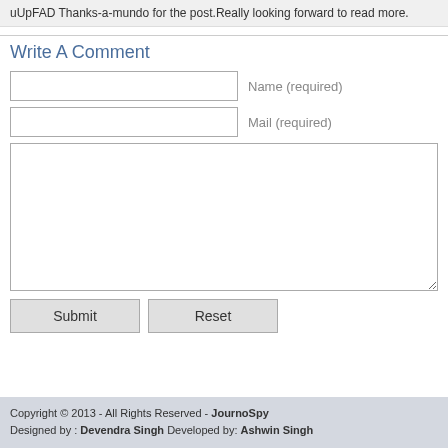uUpFAD Thanks-a-mundo for the post.Really looking forward to read more.
Write A Comment
Name (required)
Mail (required)
Copyright © 2013 - All Rights Reserved - JournoSpy
Designed by : Devendra Singh Developed by: Ashwin Singh